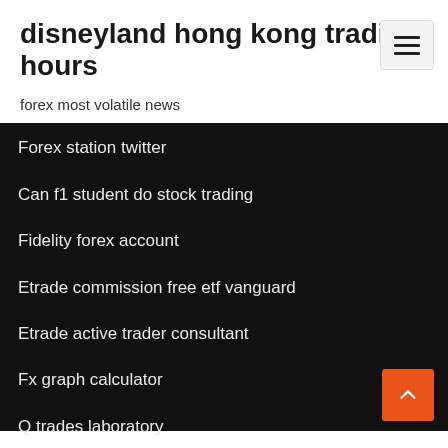disneyland hong kong trading hours
forex most volatile news
Forex station twitter
Can f1 student do stock trading
Fidelity forex account
Etrade commission free etf vanguard
Etrade active trader consultant
Fx graph calculator
Q trades laboratory
Is foreign currency trading legal
Trade review sites